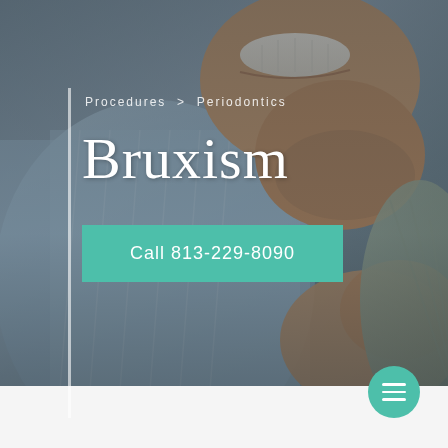[Figure (photo): Close-up photo of a smiling man wearing a blue shirt, with another person visible partially, set against a blurred background. Used as hero banner background for a dental/periodontics webpage about Bruxism.]
Procedures > Periodontics
Bruxism
Call 813-229-8090